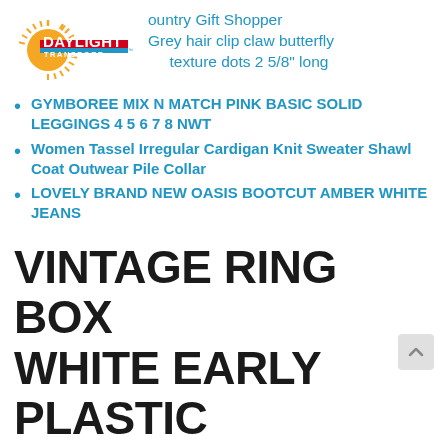[Figure (logo): Daylight Transport logo with sunburst graphic and company name]
ountry Gift Shopper
Grey hair clip claw butterfly
texture dots 2 5/8" long
GYMBOREE MIX N MATCH PINK BASIC SOLID LEGGINGS 4 5 6 7 8 NWT
Women Tassel Irregular Cardigan Knit Sweater Shawl Coat Outwear Pile Collar
LOVELY BRAND NEW OASIS BOOTCUT AMBER WHITE JEANS
VINTAGE RING BOX WHITE EARLY PLASTIC STAR SHAPE ON TOP